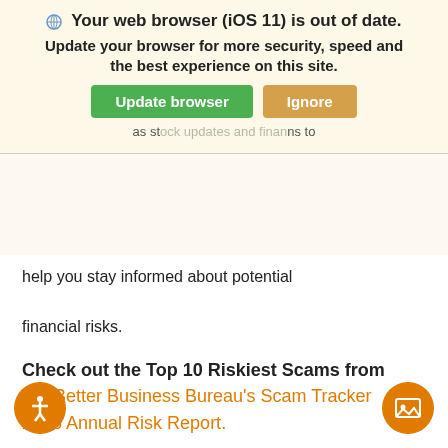Your web browser (iOS 11) is out of date. Update your browser for more security, speed and the best experience on this site. [Update browser] [Ignore]
help you stay informed about potential financial risks.
Check out the Top 10 Riskiest Scams from the Better Business Bureau's Scam Tracker 2016 Annual Risk Report.
Home Improvement. These scams typically involve a seemingly friendly owner or salesperson for a local home improvement company dropping by with